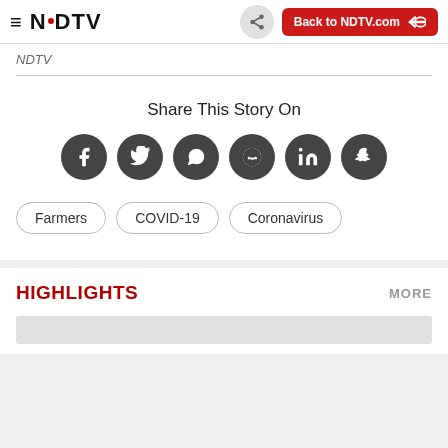≡ N·DTV  Back to NDTV.com
NDTV
Share This Story On
[Figure (infographic): Row of 6 social media icons (Facebook, Twitter, WhatsApp, Reddit, LinkedIn, Snapchat) as dark circles]
Farmers
COVID-19
Coronavirus
HIGHLIGHTS
MORE